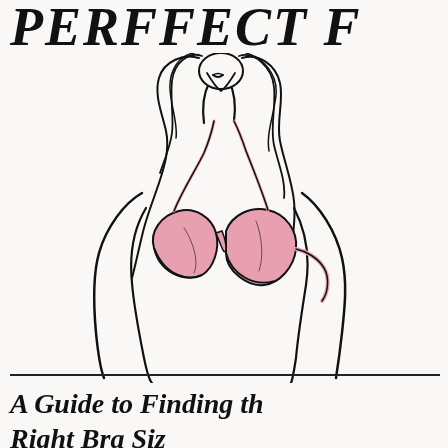PERFFECT F
[Figure (illustration): Line drawing of a woman with long wavy hair, looking down, wearing a pink bra. The figure is shown from the waist up with black ink outlines and pink fill for the bra.]
A Guide to Finding th Right Bra Siz